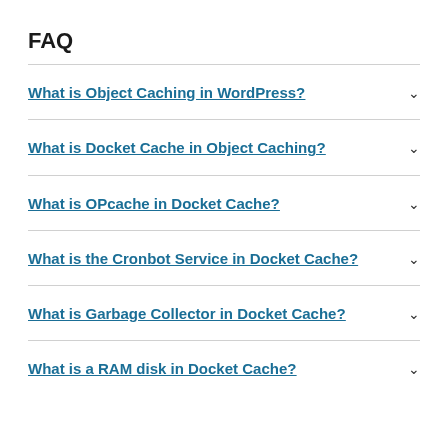FAQ
What is Object Caching in WordPress?
What is Docket Cache in Object Caching?
What is OPcache in Docket Cache?
What is the Cronbot Service in Docket Cache?
What is Garbage Collector in Docket Cache?
What is a RAM disk in Docket Cache?